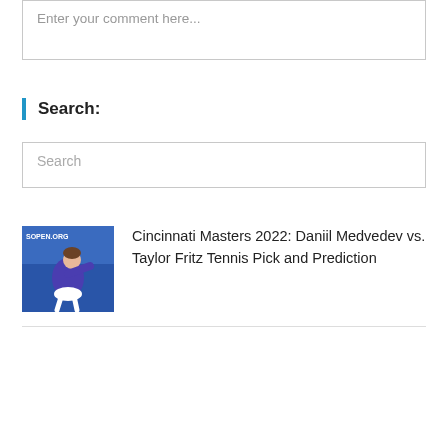Enter your comment here...
Search:
Search
[Figure (photo): Tennis player Daniil Medvedev in blue/purple shirt, mid-motion on court, with SOPEN.ORG watermark]
Cincinnati Masters 2022: Daniil Medvedev vs. Taylor Fritz Tennis Pick and Prediction